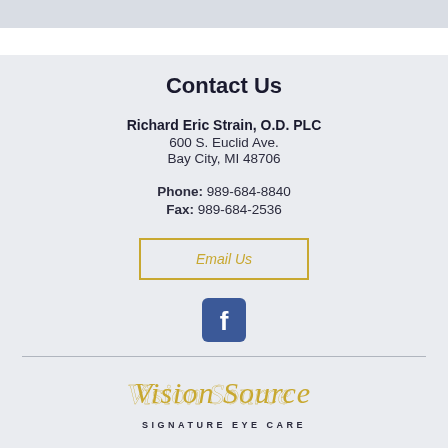Contact Us
Richard Eric Strain, O.D. PLC
600 S. Euclid Ave.
Bay City, MI 48706
Phone: 989-684-8840
Fax: 989-684-2536
Email Us
[Figure (logo): Facebook icon - blue rounded square with white 'f' letter]
[Figure (logo): Vision Source Signature Eye Care logo in gold script with subtitle in uppercase letters]